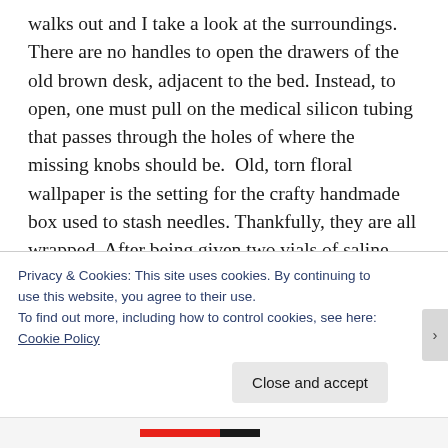walks out and I take a look at the surroundings. There are no handles to open the drawers of the old brown desk, adjacent to the bed. Instead, to open, one must pull on the medical silicon tubing that passes through the holes of where the missing knobs should be.  Old, torn floral wallpaper is the setting for the crafty handmade box used to stash needles. Thankfully, they are all wrapped. After being given two vials of saline, I'm immediately sent on my way. Maybe it's just me, but it's the temperature of Hell outside, in the dead of winter.  Drugged, I start counting the beads of sweat rolling down my body that somehow avoids getting soaked up by my encroaching black abaya.  Finally, I catch a taxi, but face the next challenge of remembering my destination in Arabic
Privacy & Cookies: This site uses cookies. By continuing to use this website, you agree to their use.
To find out more, including how to control cookies, see here: Cookie Policy
Close and accept